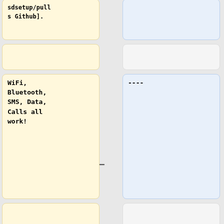sdsetup/pulls Github].
----
WiFi, Bluetooth, SMS, Data, Calls all work!
=== Gentoo ===
There are still a few bugs though, and [https://xnux.eu/devices/pine64-pinephone.html#toc-feature-